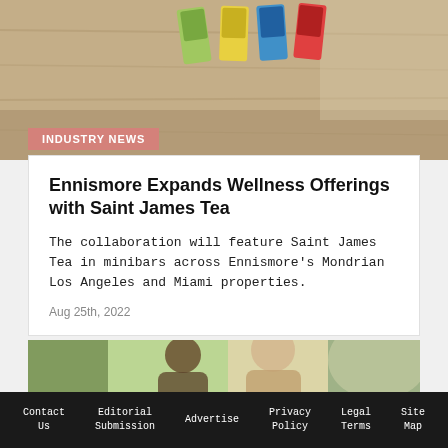[Figure (photo): Tea product packages on a wooden table surface]
INDUSTRY NEWS
Ennismore Expands Wellness Offerings with Saint James Tea
The collaboration will feature Saint James Tea in minibars across Ennismore's Mondrian Los Angeles and Miami properties.
Aug 25th, 2022
[Figure (photo): Two people, a wellness or yoga session scene]
Contact Us   Editorial Submission   Advertise   Privacy Policy   Legal Terms   Site Map